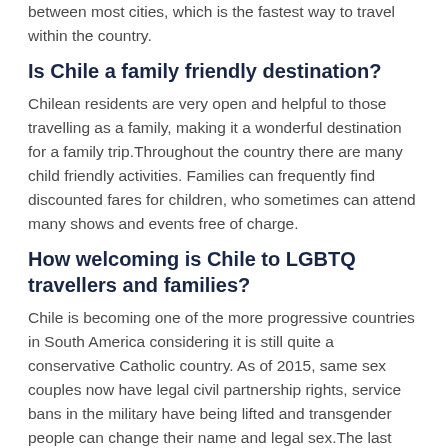between most cities, which is the fastest way to travel within the country.
Is Chile a family friendly destination?
Chilean residents are very open and helpful to those travelling as a family, making it a wonderful destination for a family trip.Throughout the country there are many child friendly activities. Families can frequently find discounted fares for children, who sometimes can attend many shows and events free of charge.
How welcoming is Chile to LGBTQ travellers and families?
Chile is becoming one of the more progressive countries in South America considering it is still quite a conservative Catholic country. As of 2015, same sex couples now have legal civil partnership rights, service bans in the military have being lifted and transgender people can change their name and legal sex.The last Saturday in June, the city of Santiago holds Marcha del Orgullo (Santiago Pride) and in November, the Open Mind Fest (a gay electronic street party).
Electricity